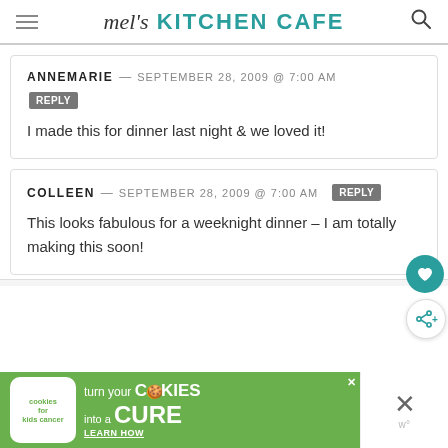mel's KITCHEN CAFE
ANNEMARIE — SEPTEMBER 28, 2009 @ 7:00 AM
REPLY
I made this for dinner last night & we loved it!
COLLEEN — SEPTEMBER 28, 2009 @ 7:00 AM REPLY
This looks fabulous for a weeknight dinner – I am totally making this soon!
[Figure (screenshot): Advertisement banner: cookies for kids cancer - turn your COOKIES into a CURE LEARN HOW]